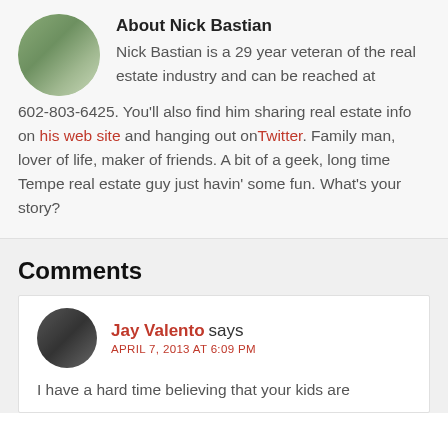About Nick Bastian
Nick Bastian is a 29 year veteran of the real estate industry and can be reached at 602-803-6425. You'll also find him sharing real estate info on his web site and hanging out onTwitter. Family man, lover of life, maker of friends. A bit of a geek, long time Tempe real estate guy just havin' some fun. What's your story?
Comments
Jay Valento says APRIL 7, 2013 AT 6:09 PM
I have a hard time believing that your kids are